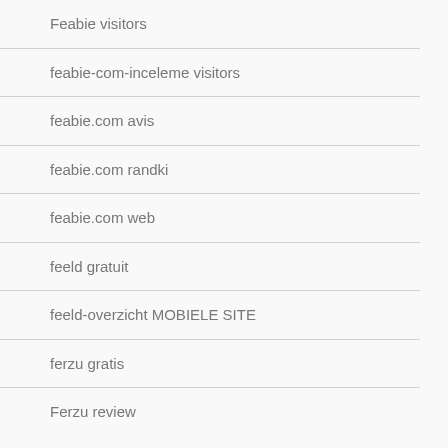Feabie visitors
feabie-com-inceleme visitors
feabie.com avis
feabie.com randki
feabie.com web
feeld gratuit
feeld-overzicht MOBIELE SITE
ferzu gratis
Ferzu review